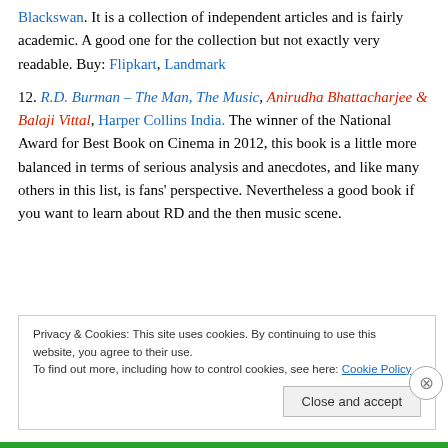Blackswan. It is a collection of independent articles and is fairly academic. A good one for the collection but not exactly very readable. Buy: Flipkart, Landmark
12. R.D. Burman – The Man, The Music, Anirudha Bhattacharjee & Balaji Vittal, Harper Collins India. The winner of the National Award for Best Book on Cinema in 2012, this book is a little more balanced in terms of serious analysis and anecdotes, and like many others in this list, is fans' perspective. Nevertheless a good book if you want to learn about RD and the then music scene.
Privacy & Cookies: This site uses cookies. By continuing to use this website, you agree to their use. To find out more, including how to control cookies, see here: Cookie Policy